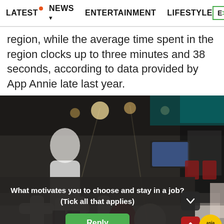LATEST  NEWS  ENTERTAINMENT  LIFESTYLE  EC>
region, while the average time spent in the region clocks up to three minutes and 38 seconds, according to data provided by App Annie late last year.
[Figure (photo): Photo of a man standing in front of TikTok branded display installation at an exhibition or event. A dark overlay poll widget is visible at the bottom with text 'What motivates you to choose and stay in a job? (Tick all that applies)' and a green Reply button. AsiaOne logo visible at bottom right.]